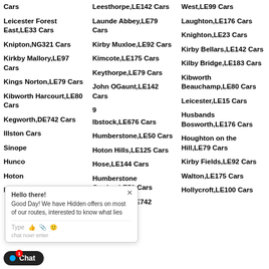Cars
Leicester Forest East,LE33 Cars
Knipton,NG321 Cars
Kirkby Mallory,LE97 Cars
Kings Norton,LE79 Cars
Kibworth Harcourt,LE80 Cars
Kegworth,DE742 Cars
Illston Cars
Sinope Cars
Hunco Cars
Hoton Cars
Holwell,LE44 Cars
Leesthorpe,LE142 Cars
Launde Abbey,LE79 Cars
Kirby Muxloe,LE92 Cars
Kimcote,LE175 Cars
Keythorpe,LE79 Cars
John OGaunt,LE142 Cars
Ibstock,LE676 Cars
Humberstone,LE50 Cars
Hoton Hills,LE125 Cars
Hose,LE144 Cars
Humberstone Garden,LE51 Cars
Hemington,DE742
West,LE99 Cars
Laughton,LE176 Cars
Knighton,LE23 Cars
Kirby Bellars,LE142 Cars
Kilby Bridge,LE183 Cars
Kibworth Beauchamp,LE80 Cars
Leicester,LE15 Cars
Husbands Bosworth,LE176 Cars
Houghton on the Hill,LE79 Cars
Kirby Fields,LE92 Cars
Walton,LE175 Cars
Hollycroft,LE100 Cars